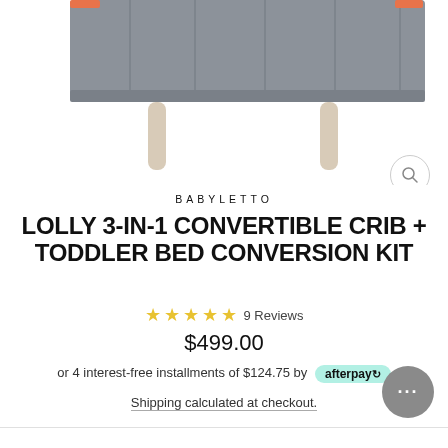[Figure (photo): Partial bottom view of a gray Babyletto Lolly crib with light wood legs on a white background]
BABYLETTO
LOLLY 3-IN-1 CONVERTIBLE CRIB + TODDLER BED CONVERSION KIT
★★★★★ 9 Reviews
$499.00
or 4 interest-free installments of $124.75 by afterpay
Shipping calculated at checkout.